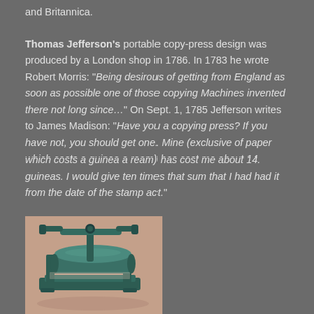and Britannica.
Thomas Jefferson's portable copy-press design was produced by a London shop in 1786. In 1783 he wrote Robert Morris: "Being desirous of getting from England as soon as possible one of those copying Machines invented there not long since…" On Sept. 1, 1785 Jefferson writes to James Madison: "Have you a copying press? If you have not, you should get one. Mine (exclusive of paper which costs a guinea a ream) has cost me about 14. guineas. I would give ten times that sum that I had had it from the date of the stamp act."
[Figure (photo): A green/teal antique copy-press machine with a roller and handle, photographed on a pinkish-tan surface]